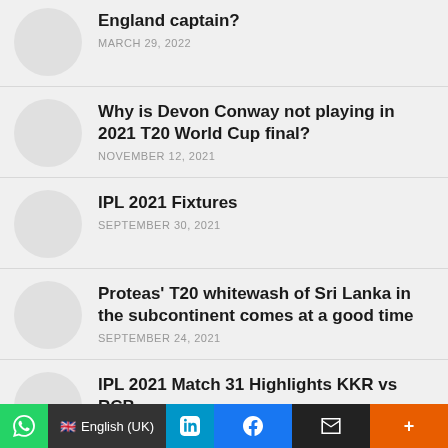England captain? MARCH 29, 2022
Why is Devon Conway not playing in 2021 T20 World Cup final? NOVEMBER 12, 2021
IPL 2021 Fixtures SEPTEMBER 30, 2021
Proteas' T20 whitewash of Sri Lanka in the subcontinent comes at a good time SEPTEMBER 24, 2021
IPL 2021 Match 31 Highlights KKR vs RCB SEPTEMBER 22, 2021
WhatsApp | English (UK) | LinkedIn | Facebook | Email | More